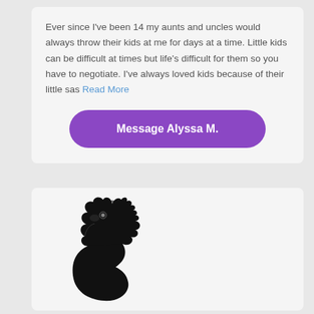Ever since I've been 14 my aunts and uncles would always throw their kids at me for days at a time. Little kids can be difficult at times but life's difficult for them so you have to negotiate. I've always loved kids because of their little sas Read More
Message Alyssa M.
[Figure (illustration): Black silhouette profile of a person wearing a decorative hat with floral accessories, facing left, shown from shoulders up]